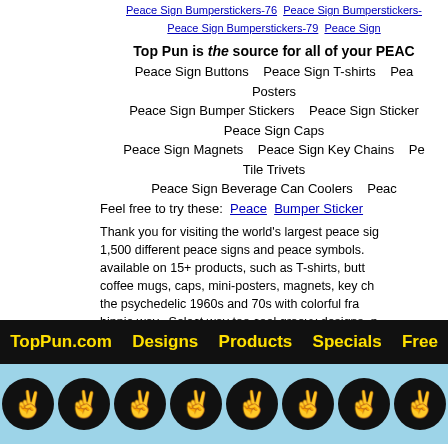Peace Sign Bumperstickers-76  Peace Sign Bumperstickers-  Peace Sign Bumperstickers-79  Peace Sign
Top Pun is the source for all of your PEAC Peace Sign Buttons   Peace Sign T-shirts   Pea Posters Peace Sign Bumper Stickers   Peace Sign Sticker Peace Sign Caps Peace Sign Magnets   Peace Sign Key Chains   Pe Tile Trivets Peace Sign Beverage Can Coolers   Peac
Feel free to try these: Peace  Bumper Sticker
Thank you for visiting the world's largest peace sig 1,500 different peace signs and peace symbols. available on 15+ products, such as T-shirts, butt coffee mugs, caps, mini-posters, magnets, key ch the psychedelic 1960s and 70s with colorful fra hippie way. Select way too cool groovy designs, p peace quotes, sayings, or slogans – or just a p download free peace sign wallpapers and free pe "Free for All."  Make love not war.  Peace!
TopPun.com   Designs   Products   Specials   Free
[Figure (illustration): Row of 8 black circles each containing a peace hand/victory sign gesture in tan/skin tone, on a light blue background]
hippiepeacesigns.com is an affiliate of TopPun.com 2628 Parkwood Ave
PRODUCT INFORMATION Buttons  T-shirts  Bumper Stickers  Stickers  Posters Coffee Mugs  Magnets  Caps  Can Coolers Pocket Mirrors  Key Chains  Mouse Pads
browse all funny saying